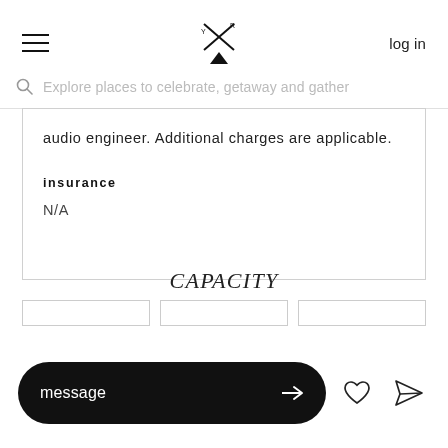log in
Explore places to celebrate, getaway and gather
audio engineer. Additional charges are applicable.
insurance
N/A
CAPACITY
message